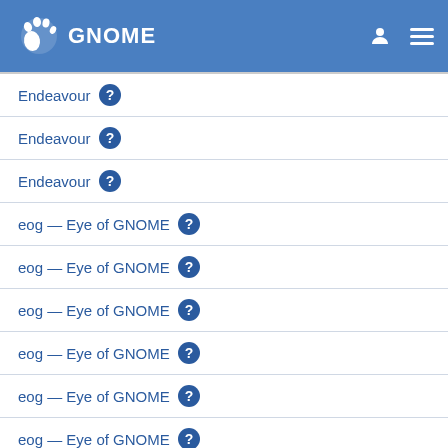GNOME
Endeavour
Endeavour
Endeavour
eog — Eye of GNOME
eog — Eye of GNOME
eog — Eye of GNOME
eog — Eye of GNOME
eog — Eye of GNOME
eog — Eye of GNOME
eog — Eye of GNOME
eog — Eye of GNOME